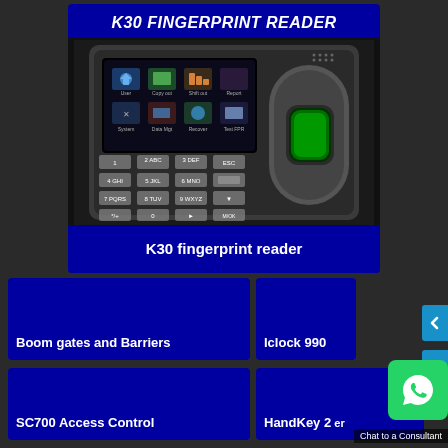K30 FINGERPRINT READER
[Figure (photo): K30 fingerprint reader device with color touchscreen display showing icons, numeric keypad, and fingerprint sensor on the right side]
K30 fingerprint reader
Boom gates and Barriers
Iclock 990
SC700 Access Control
HandKey 2 er
Chat to a Consultant